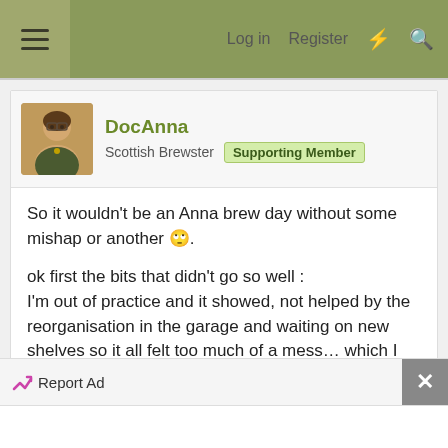≡  Log in  Register  ⚡  🔍
DocAnna
Scottish Brewster  Supporting Member
So it wouldn't be an Anna brew day without some mishap or another 🙄.

ok first the bits that didn't go so well :
I'm out of practice and it showed, not helped by the reorganisation in the garage and waiting on new shelves so it all felt too much of a mess… which I don't cope with well. It was also too friggin cold! So both elements were needed fir the boil and so my boil off was a bit more than expected.
Report Ad  ✕